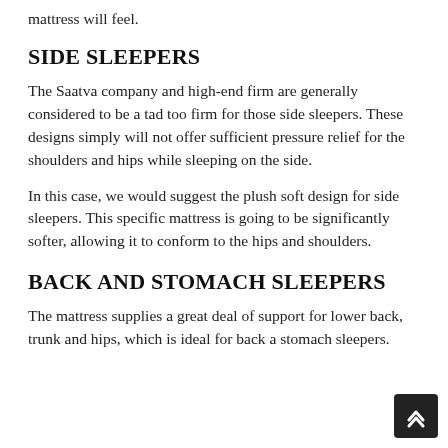mattress will feel.
SIDE SLEEPERS
The Saatva company and high-end firm are generally considered to be a tad too firm for those side sleepers. These designs simply will not offer sufficient pressure relief for the shoulders and hips while sleeping on the side.
In this case, we would suggest the plush soft design for side sleepers. This specific mattress is going to be significantly softer, allowing it to conform to the hips and shoulders.
BACK AND STOMACH SLEEPERS
The mattress supplies a great deal of support for lower back, trunk and hips, which is ideal for back and stomach sleepers.